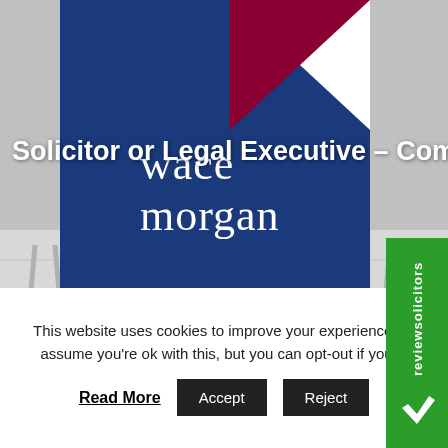[Figure (photo): Background photo of a person sitting in a waiting area chair, showing their legs crossed and dark shoes, in a law firm setting with chairs visible. Wace Morgan Solicitors logo overlaid on blue box with white and red triangle in upper portion.]
Solicitor or Legal Executive – Commercial
This website uses cookies to improve your experience. W assume you're ok with this, but you can opt-out if you w
Read More   Accept   Reject